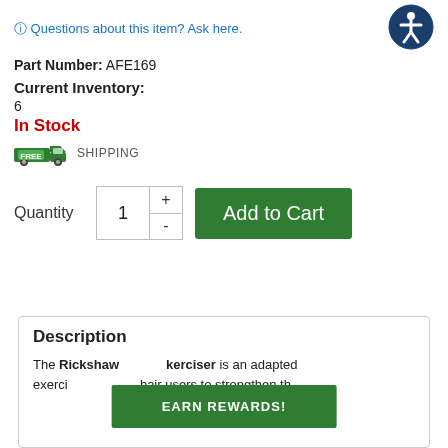Questions about this item? Ask here.
Part Number: AFE169
Current Inventory:
6
In Stock
[Figure (illustration): Free shipping badge with truck icon. Green badge with FREE text and SHIPPING label next to a truck icon.]
Quantity  1  +  -  Add to Cart
Description
The Rickshaw [Arm] Exerciser is an adapted exerci[se machine allowing wheelchair] users to strengthen th[eir] [various pieces of...
EARN REWARDS!